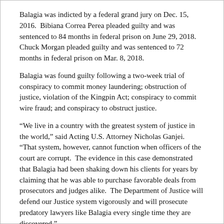Balagia was indicted by a federal grand jury on Dec. 15, 2016.  Bibiana Correa Perea pleaded guilty and was sentenced to 84 months in federal prison on June 29, 2018.  Chuck Morgan pleaded guilty and was sentenced to 72 months in federal prison on Mar. 8, 2018.
Balagia was found guilty following a two-week trial of conspiracy to commit money laundering; obstruction of justice, violation of the Kingpin Act; conspiracy to commit wire fraud; and conspiracy to obstruct justice.
“We live in a country with the greatest system of justice in the world,” said Acting U.S. Attorney Nicholas Ganjei.  “That system, however, cannot function when officers of the court are corrupt.  The evidence in this case demonstrated that Balagia had been shaking down his clients for years by claiming that he was able to purchase favorable deals from prosecutors and judges alike.  The Department of Justice will defend our Justice system vigorously and will prosecute predatory lawyers like Balagia every single time they are discovered.”
“The FBI combats public corruption at all levels and will protect and defend the U.S. justice system from those who attempt to diminish its integrity,” said FBI Dallas Special Agent in Charge Matthew J. DeSarno.  “Today’s sentence demonstrates that officials who misuse their influence for personal financial benefit will be held accountable.”